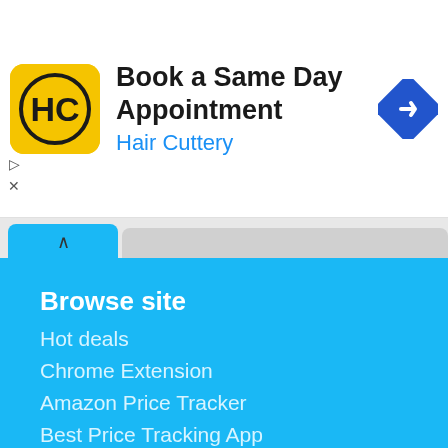[Figure (screenshot): Advertisement banner for Hair Cuttery showing logo, 'Book a Same Day Appointment' title, 'Hair Cuttery' subtitle in blue, and a navigation arrow icon.]
Browse site
Hot deals
Chrome Extension
Amazon Price Tracker
Best Price Tracking App
Product Price History
Download app
Blog
Contact